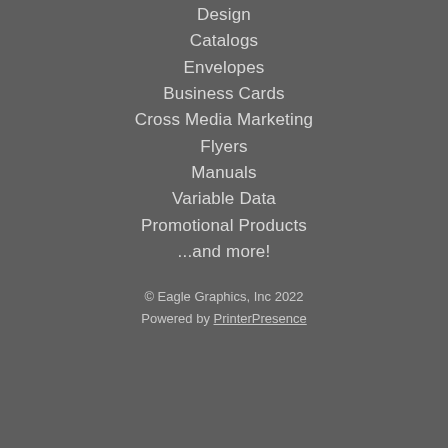Design
Catalogs
Envelopes
Business Cards
Cross Media Marketing
Flyers
Manuals
Variable Data
Promotional Products
...and more!
© Eagle Graphics, Inc 2022
Powered by PrinterPresence